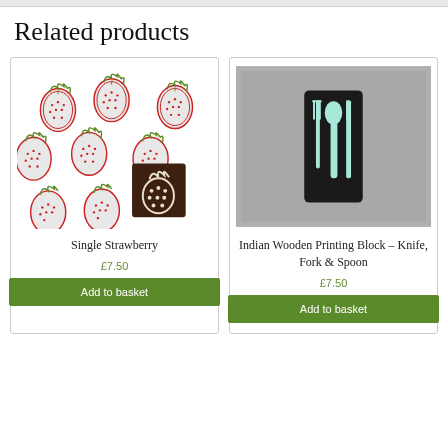Related products
[Figure (photo): Strawberry pattern print fabric with a wooden block stamp showing a strawberry design]
Single Strawberry
£7.50
Add to basket
[Figure (photo): Indian wooden printing block with fork, knife and spoon design on grey background]
Indian Wooden Printing Block – Knife, Fork & Spoon
£7.50
Add to basket